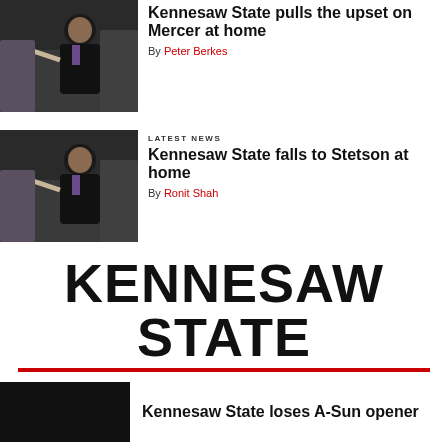[Figure (photo): Basketball coach in dark suit gesturing with hand, pointing, at a game sideline.]
Kennesaw State pulls the upset on Mercer at home
By Peter Berkes
[Figure (photo): Basketball coach in dark suit gesturing with hand pointing, second article image.]
LATEST NEWS
Kennesaw State falls to Stetson at home
By Ronit Shah
KENNESAW STATE
Kennesaw State loses A-Sun opener